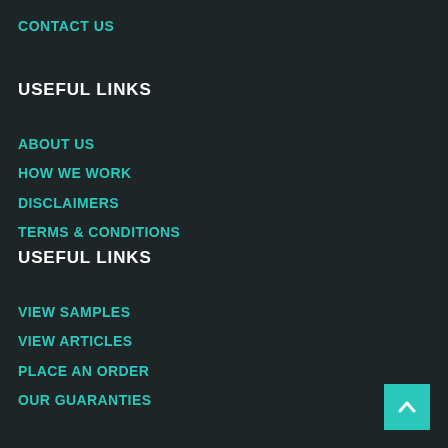CONTACT US
USEFUL LINKS
ABOUT US
HOW WE WORK
DISCLAIMERS
TERMS & CONDITIONS
USEFUL LINKS
VIEW SAMPLES
VIEW ARTICLES
PLACE AN ORDER
OUR GUARANTIES
[Figure (other): Back to top button with upward arrow on teal/cyan background]